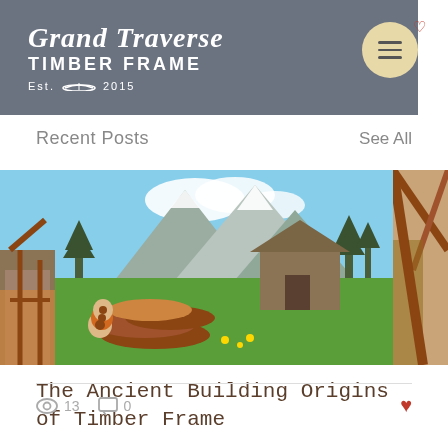[Figure (logo): Grand Traverse Timber Frame logo with script text on dark gray header background, Est. 2015]
[Figure (other): Circular menu button with three horizontal lines on tan/beige background, red heart icon nearby]
Recent Posts
See All
[Figure (photo): Horizontal strip of three images: partial timber frame construction on left and right, center showing logs stacked in front of a wooden barn with mountain and forest backdrop under cloudy sky]
The Ancient Building Origins of Timber Frame
13 views, 0 comments, heart/like button